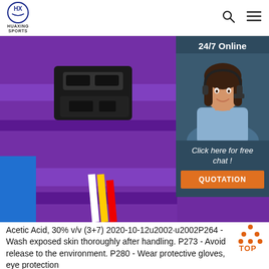[Figure (logo): Huaxing Sports logo - circular emblem with text HUAXING SPORTS below]
[Figure (photo): Close-up of purple nylon straps and black plastic buckle fasteners on sporting equipment. An overlay panel on the right shows a customer service representative wearing a headset, with text '24/7 Online', 'Click here for free chat!', and an orange QUOTATION button.]
Acetic Acid, 30% v/v (3+7) 2020-10-12u2002·u2002P264 - Wash exposed skin thoroughly after handling. P273 - Avoid release to the environment. P280 - Wear protective gloves, eye protection